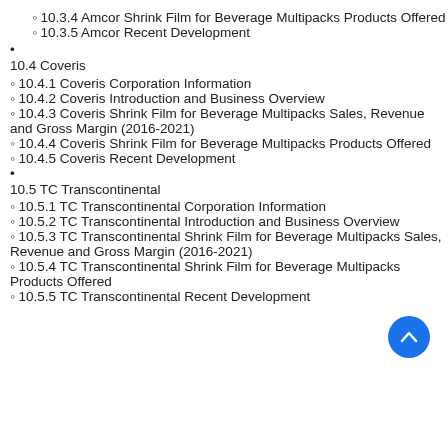10.3.4 Amcor Shrink Film for Beverage Multipacks Products Offered
10.3.5 Amcor Recent Development
10.4 Coveris
10.4.1 Coveris Corporation Information
10.4.2 Coveris Introduction and Business Overview
10.4.3 Coveris Shrink Film for Beverage Multipacks Sales, Revenue and Gross Margin (2016-2021)
10.4.4 Coveris Shrink Film for Beverage Multipacks Products Offered
10.4.5 Coveris Recent Development
10.5 TC Transcontinental
10.5.1 TC Transcontinental Corporation Information
10.5.2 TC Transcontinental Introduction and Business Overview
10.5.3 TC Transcontinental Shrink Film for Beverage Multipacks Sales, Revenue and Gross Margin (2016-2021)
10.5.4 TC Transcontinental Shrink Film for Beverage Multipacks Products Offered
10.5.5 TC Transcontinental Recent Development